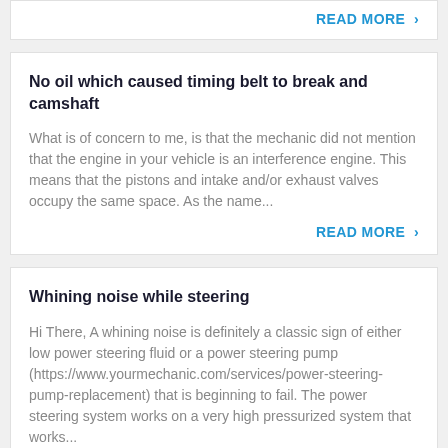READ MORE >
No oil which caused timing belt to break and camshaft
What is of concern to me, is that the mechanic did not mention that the engine in your vehicle is an interference engine. This means that the pistons and intake and/or exhaust valves occupy the same space. As the name...
READ MORE >
Whining noise while steering
Hi There, A whining noise is definitely a classic sign of either low power steering fluid or a power steering pump (https://www.yourmechanic.com/services/power-steering-pump-replacement) that is beginning to fail. The power steering system works on a very high pressurized system that works...